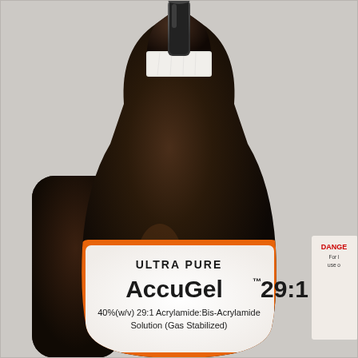[Figure (photo): A dark brown glass bottle with a black pump cap and white seal tape around the neck. The bottle has an orange-bordered white label reading 'ULTRA PURE AccuGel™ 29:1' and subtitle '40%(w/v) 29:1 Acrylamide:Bis-Acrylamide Solution (Gas Stabilized)'. A partial second bottle is visible on the left. A partial danger label is visible on the right edge. Background is a light gray wall/shelf.]